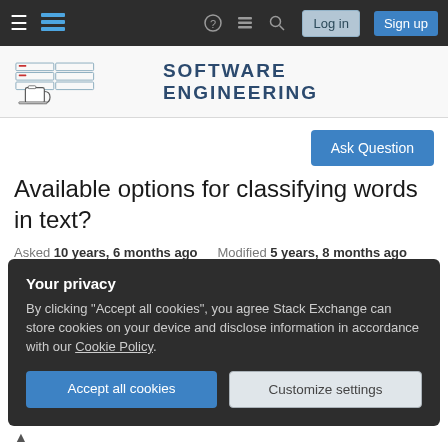Software Engineering Stack Exchange – navigation bar with Log in and Sign up buttons
[Figure (logo): Software Engineering Stack Exchange site logo with illustrated servers and coffee mug, text reading SOFTWARE ENGINEERING]
Ask Question
Available options for classifying words in text?
Asked 10 years, 6 months ago   Modified 5 years, 8 months ago
Viewed 644 times
Your privacy
By clicking "Accept all cookies", you agree Stack Exchange can store cookies on your device and disclose information in accordance with our Cookie Policy.
Accept all cookies   Customize settings